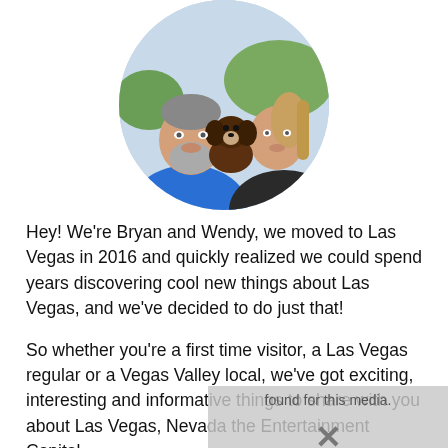[Figure (photo): Circular cropped photo of two people (a man and a woman) holding a small brown dog, smiling outdoors. The man wears a blue shirt; the woman wears a dark top.]
Hey! We're Bryan and Wendy, we moved to Las Vegas in 2016 and quickly realized we could spend years discovering cool new things about Las Vegas, and we've decided to do just that!
So whether you're a first time visitor, a Las Vegas regular or a Vegas Valley local, we've got exciting, interesting and informative things to share with you about Las Vegas, Nevada the Entertainment Capital
[Figure (other): Overlay box with text 'found for this media.' and a large X mark, indicating media not found placeholder.]